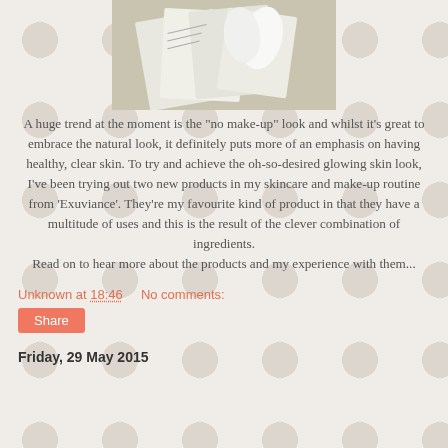[Figure (photo): Photo of skincare product packaging/papers arranged in a basket, partially cropped at top]
A huge trend at the moment is the "no make-up" look and whilst it's great to embrace the natural look, it definitely puts more of an emphasis on having healthy, clear skin. To try and achieve the oh-so-desired glowing skin look, I've been trying out two new products in my skincare and make-up routine from 'Exuviance'. They're my favourite kind of product in that they have a multitude of uses and this is the result of the clever combination of ingredients.
Read on to hear more about the products and my experience with them...
Unknown at 18:46    No comments:
Share
Friday, 29 May 2015